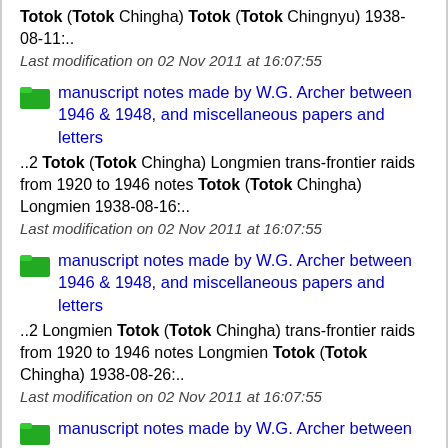Totok (Totok Chingha) Totok (Totok Chingnyu) Totok (Totok Chingnyu) 1938-08-11:..
Last modification on 02 Nov 2011 at 16:07:55
manuscript notes made by W.G. Archer between 1946 & 1948, and miscellaneous papers and letters
..2 Totok (Totok Chingha) Longmien trans-frontier raids from 1920 to 1946 notes Totok (Totok Chingha) Longmien 1938-08-16:..
Last modification on 02 Nov 2011 at 16:07:55
manuscript notes made by W.G. Archer between 1946 & 1948, and miscellaneous papers and letters
..2 Longmien Totok (Totok Chingha) trans-frontier raids from 1920 to 1946 notes Longmien Totok (Totok Chingha) 1938-08-26:..
Last modification on 02 Nov 2011 at 16:07:55
manuscript notes made by W.G. Archer between